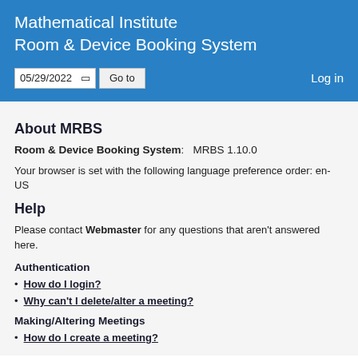Mathematical Institute
Room & Device Booking System
About MRBS
Room & Device Booking System:   MRBS 1.10.0
Your browser is set with the following language preference order: en-US
Help
Please contact Webmaster for any questions that aren't answered here.
Authentication
How do I login?
Why can't I delete/alter a meeting?
Making/Altering Meetings
How do I create a meeting?